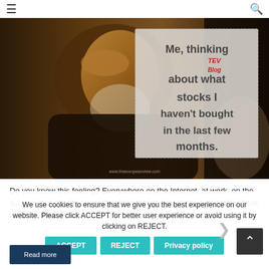≡   🔍
[Figure (illustration): A Rembrandt-style painting of an elderly man with his hand on his forehead in a contemplative pose, overlaid with a dotted-border text box reading: 'Me, thinking about what stocks I haven't bought in the last few months.' with a watermark 'www.theeuropeanview.com' and a red handwritten-style stamp 'TEV Blog']
Do you know this feeling? Everywhere on the Internet, at work, on the subway, people are currently talking about how much money they have made in the last few months.
We use cookies to ensure that we give you the best experience on our website. Please click ACCEPT for better user experience or avoid using it by clicking on REJECT.
ACCEPT   REJECT   Privacy policy
Read more